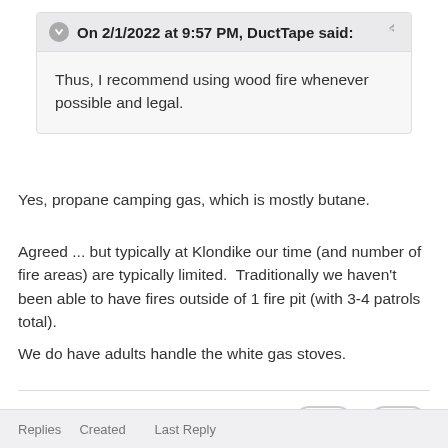On 2/1/2022 at 9:57 PM, DuctTape said:
Thus, I recommend using wood fire whenever possible and legal.
Yes, propane camping gas, which is mostly butane.
Agreed ... but typically at Klondike our time (and number of fire areas) are typically limited.  Traditionally we haven't been able to have fires outside of 1 fire pit (with 3-4 patrols total).
We do have adults handle the white gas stoves.
[Figure (infographic): Reaction badges: trophy icon with count 1 (purple), upvote icon with count 1 (green)]